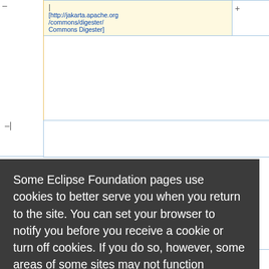[Figure (screenshot): Wiki-style table rows with yellow cell containing a hyperlink to [http://jakarta.apache.org/commons/digester/ Commons Digester], with minus and plus edit controls visible, partially obscured by a cookie consent overlay]
Some Eclipse Foundation pages use cookies to better serve you when you return to the site. You can set your browser to notify you before you receive a cookie or turn off cookies. If you do so, however, some areas of some sites may not function properly. To read Eclipse Foundation Privacy Policy
click here.
Decline
Allow cookies